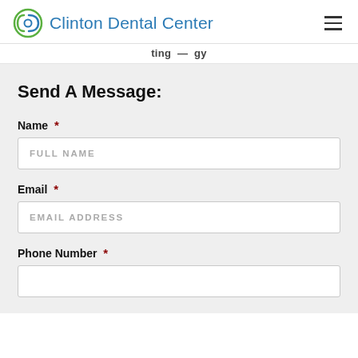Clinton Dental Center
...porting...gy
Send A Message:
Name *
FULL NAME
Email *
EMAIL ADDRESS
Phone Number *